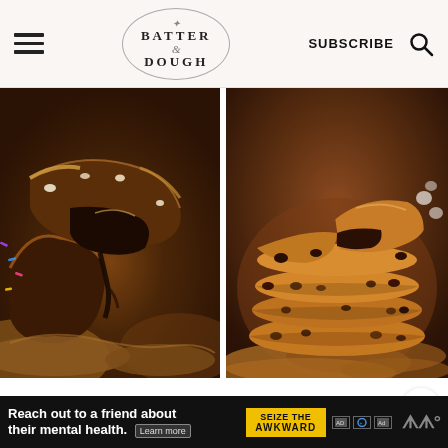BATTER & DOUGH — SUBSCRIBE
[Figure (photo): Close-up of a brookie (brownie-cookie bar) broken in half showing fudgy chocolate interior with white chocolate chips and caramelized edges, colorful sprinkles visible in background]
[Figure (photo): Stack of thick chocolate chip cookies with one cookie on top broken in half, revealing gooey chocolate interior, stacked high on a bed of more cookies]
Brookies ~ Chocolate Chip Cookie Brownie
Anything Cookies {One Basic Cookie Dough, Hundreds of
Reach out to a friend about their mental health. Learn more — SEIZE THE AWKWARD